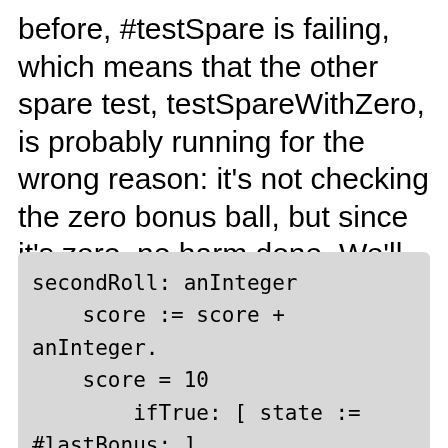before, #testSpare is failing, which means that the other spare test, testSpareWithZero, is probably running for the wrong reason: it's not checking the zero bonus ball, but since it's zero, no harm done. We'll get to some more robust tests real soon now. I'm going to fill in some more of the state code:
secondRoll: anInteger
    score := score + anInteger.
    score = 10
        ifTrue: [ state := #lastBonus: ]
        ifFalse: [ state := #satisfied: ]

lastBonus: anInteger